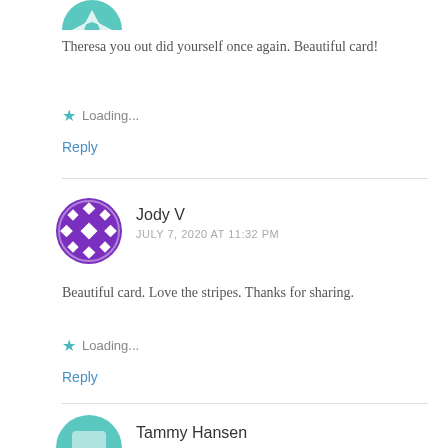[Figure (illustration): Partial teal/green avatar icon at the top, cropped]
Theresa you out did yourself once again. Beautiful card!
★ Loading...
Reply
[Figure (illustration): Purple decorative mandala/snowflake pattern avatar for Jody V]
Jody V
JULY 7, 2020 AT 11:32 PM
Beautiful card. Love the stripes. Thanks for sharing.
★ Loading...
Reply
[Figure (illustration): Partial teal/green avatar icon at the bottom, cropped]
Tammy Hansen